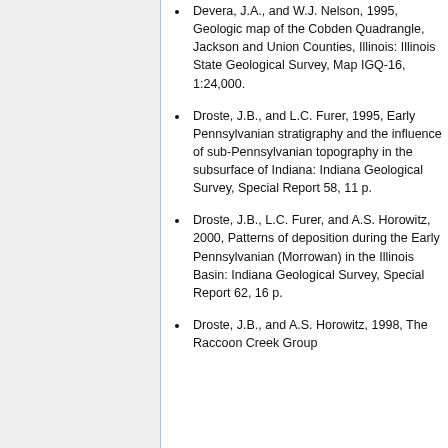Devera, J.A., and W.J. Nelson, 1995, Geologic map of the Cobden Quadrangle, Jackson and Union Counties, Illinois: Illinois State Geological Survey, Map IGQ-16, 1:24,000.
Droste, J.B., and L.C. Furer, 1995, Early Pennsylvanian stratigraphy and the influence of sub-Pennsylvanian topography in the subsurface of Indiana: Indiana Geological Survey, Special Report 58, 11 p.
Droste, J.B., L.C. Furer, and A.S. Horowitz, 2000, Patterns of deposition during the Early Pennsylvanian (Morrowan) in the Illinois Basin: Indiana Geological Survey, Special Report 62, 16 p.
Droste, J.B., and A.S. Horowitz, 1998, The Raccoon Creek Group